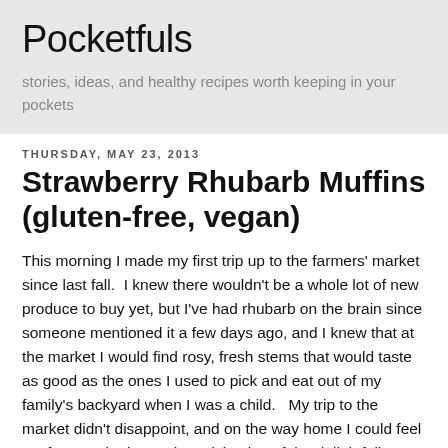Pocketfuls
stories, ideas, and healthy recipes worth keeping in your pockets
Thursday, May 23, 2013
Strawberry Rhubarb Muffins (gluten-free, vegan)
This morning I made my first trip up to the farmers' market since last fall.  I knew there wouldn't be a whole lot of new produce to buy yet, but I've had rhubarb on the brain since someone mentioned it a few days ago, and I knew that at the market I would find rosy, fresh stems that would taste as good as the ones I used to pick and eat out of my family's backyard when I was a child.   My trip to the market didn't disappoint, and on the way home I could feel my face puckering up in anticipation of the delightfully sour taste while I decided what I would make first with my large rhubarb